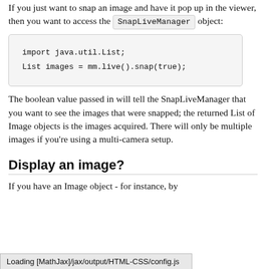If you just want to snap an image and have it pop up in the viewer, then you want to access the SnapLiveManager object:
[Figure (screenshot): Code block showing: import java.util.List; List images = mm.live().snap(true);]
The boolean value passed in will tell the SnapLiveManager that you want to see the images that were snapped; the returned List of Image objects is the images acquired. There will only be multiple images if you're using a multi-camera setup.
Display an image?
If you have an Image object - for instance, by
Loading [MathJax]/jax/output/HTML-CSS/config.js